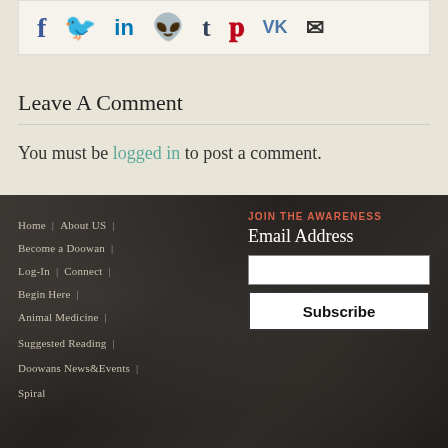[Figure (other): Social share icon bar with Facebook (f), Twitter, LinkedIn (in), Reddit, Tumblr (t), Pinterest, VK, and email icons]
Leave A Comment
You must be logged in to post a comment.
Home | About US |
Become a Doowan |
Log-In | Connect |
Begin Here |
Animal Medicine |
Suggested Reading |
Doowans News&Events |
Spiral
JOIN THE AWARENESS
Email Address